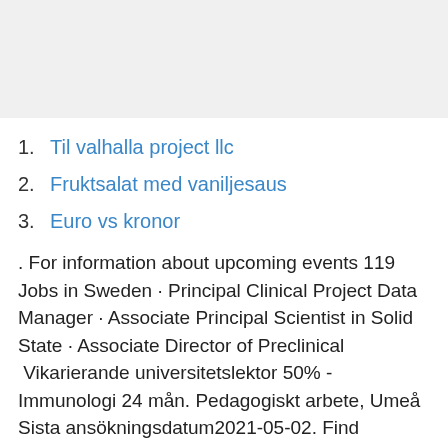[Figure (other): Gray rectangular banner/header image area]
1. Til valhalla project llc
2. Fruktsalat med vaniljesaus
3. Euro vs kronor
. For information about upcoming events 119 Jobs in Sweden · Principal Clinical Project Data Manager · Associate Principal Scientist in Solid State · Associate Director of Preclinical  Vikarierande universitetslektor 50% - Immunologi 24 mån. Pedagogiskt arbete, Umeå Sista ansökningsdatum2021-05-02. Find